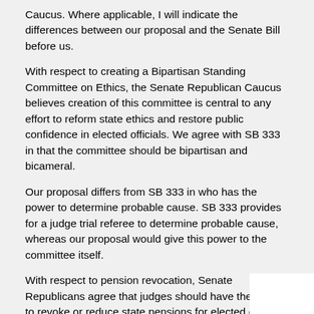Caucus. Where applicable, I will indicate the differences between our proposal and the Senate Bill before us.
With respect to creating a Bipartisan Standing Committee on Ethics, the Senate Republican Caucus believes creation of this committee is central to any effort to reform state ethics and restore public confidence in elected officials. We agree with SB 333 in that the committee should be bipartisan and bicameral.
Our proposal differs from SB 333 in who has the power to determine probable cause. SB 333 provides for a judge trial referee to determine probable cause, whereas our proposal would give this power to the committee itself.
With respect to pension revocation, Senate Republicans agree that judges should have the power to revoke or reduce state pensions for elected or appointed public officials convicted of crimes related to their state office. Crimes committed by public officials and state employees violate the public trust and warrant severe punishment. Recent criminal activity at the Departments of Motor Vehicles, Public Works and Transportation illustrate the need for this measure.
Senate Republicans also agree with SB 333 in that public officials and state employees who witness or have knowledge of